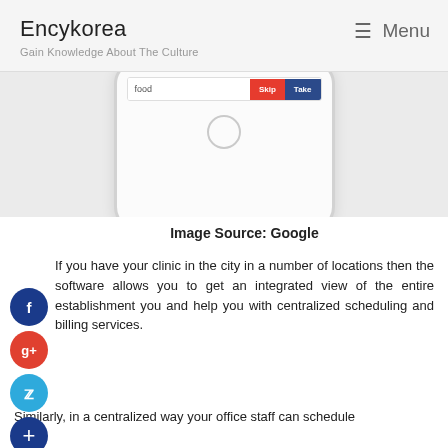Encykorea
Gain Knowledge About The Culture
Menu
[Figure (screenshot): Partial view of a smartphone mockup showing a quiz or flashcard app interface with a text field showing 'food' and two buttons: 'Skip' (red) and 'Take' (dark blue)]
Image Source: Google
If you have your clinic in the city in a number of locations then the software allows you to get an integrated view of the entire establishment you and help you with centralized scheduling and billing services.
Similarly, in a centralized way your office staff can schedule